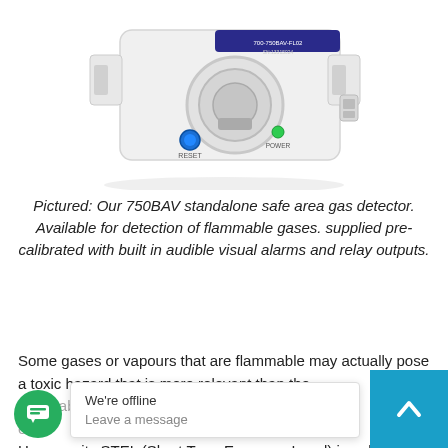[Figure (photo): White standalone gas detector device (750BAV) with RESET button (blue) and POWER indicator (green), shown at an angle. Label on top reads 700-750BAV-FL02.]
Pictured: Our 750BAV standalone safe area gas detector. Available for detection of flammable gases. supplied pre-calibrated with built in audible visual alarms and relay outputs.
Some gases or vapours that are flammable may actually pose a toxic hazard that is more relevant than the flammable [obscured] Monoxide is [obscured] [obscured] e a[obscured] 5% by volu[me] However its STEL (Short Term Exposure Level) is only